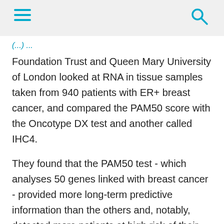Foundation Trust and Queen Mary University of London looked at RNA in tissue samples taken from 940 patients with ER+ breast cancer, and compared the PAM50 score with the Oncotype DX test and another called IHC4.
They found that the PAM50 test - which analyses 50 genes linked with breast cancer - provided more long-term predictive information than the others and, notably, detected more patients at high risk of their disease returning and classed fewer in intermediate risk group.
'More cost-effective, more relevent'